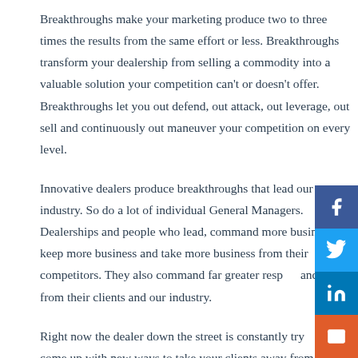Breakthroughs make your marketing produce two to three times the results from the same effort or less. Breakthroughs transform your dealership from selling a commodity into a valuable solution your competition can't or doesn't offer. Breakthroughs let you out defend, out attack, out leverage, out sell and continuously out maneuver your competition on every level.
Innovative dealers produce breakthroughs that lead our industry. So do a lot of individual General Managers. Dealerships and people who lead, command more business, keep more business and take more business from their competitors. They also command far greater respect and trust from their clients and our industry.
Right now the dealer down the street is constantly trying to come up with new ways to take your clients away from
[Figure (infographic): Social media share buttons on right side: Facebook (blue), Twitter (light blue), LinkedIn (dark blue), Email (orange)]